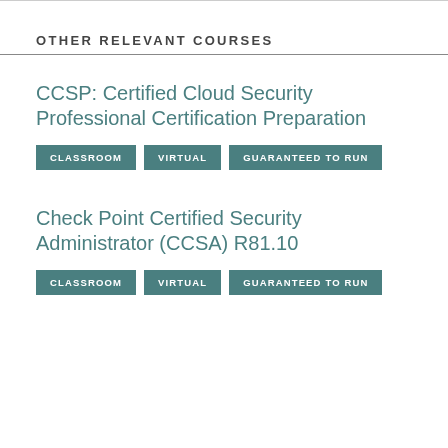OTHER RELEVANT COURSES
CCSP: Certified Cloud Security Professional Certification Preparation
CLASSROOM
VIRTUAL
GUARANTEED TO RUN
Check Point Certified Security Administrator (CCSA) R81.10
CLASSROOM
VIRTUAL
GUARANTEED TO RUN